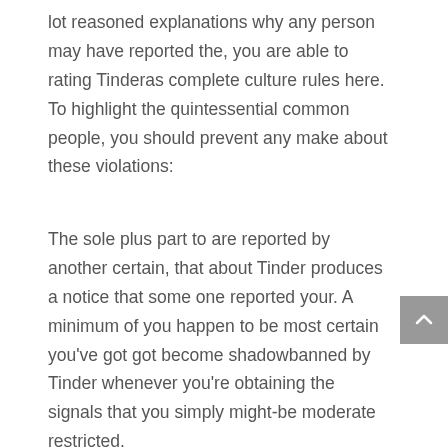lot reasoned explanations why any person may have reported the, you are able to rating Tinderas complete culture rules here. To highlight the quintessential common people, you should prevent any make about these violations:
The sole plus part to are reported by another certain, that about Tinder produces a notice that some one reported your. A minimum of you happen to be most certain you’ve got got become shadowbanned by Tinder whenever you’re obtaining the signals that you simply might-be moderate restricted.